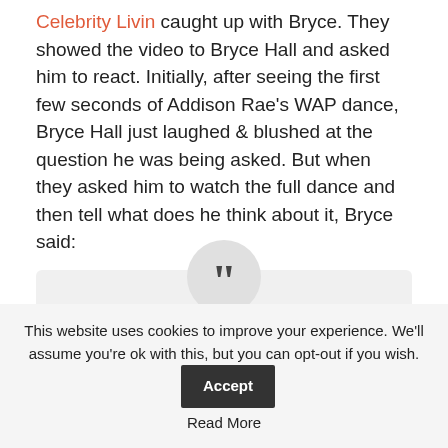Celebrity Livin caught up with Bryce. They showed the video to Bryce Hall and asked him to react. Initially, after seeing the first few seconds of Addison Rae's WAP dance, Bryce Hall just laughed & blushed at the question he was being asked. But when they asked him to watch the full dance and then tell what does he think about it, Bryce said:
I mean, what do you want me to say. She looks good
This website uses cookies to improve your experience. We'll assume you're ok with this, but you can opt-out if you wish. Accept Read More